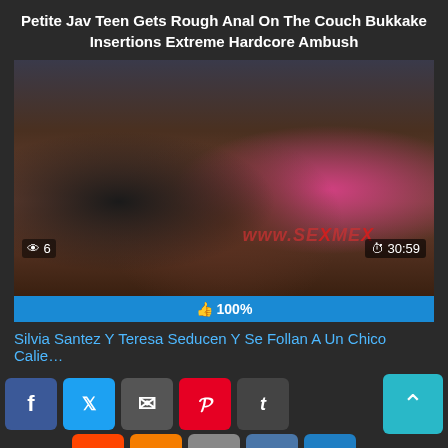Petite Jav Teen Gets Rough Anal On The Couch Bukkake Insertions Extreme Hardcore Ambush
[Figure (screenshot): Video thumbnail showing three people on a couch. Views: 6, Duration: 30:59, Rating bar: 100%, Watermark: www.SEXMEX]
Silvia Santez Y Teresa Seducen Y Se Follan A Un Chico Calie…
[Figure (infographic): Social share buttons: Facebook, Twitter, Email, Pinterest, Tumblr, Reddit, Blogger, WordPress, VK, More. Plus a scroll-to-top button.]